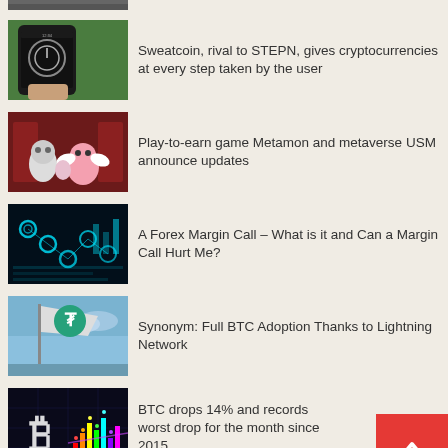[Figure (photo): Partial top image cropped]
Sweatcoin, rival to STEPN, gives cryptocurrencies at every step taken by the user
Play-to-earn game Metamon and metaverse USM announce updates
A Forex Margin Call – What is it and Can a Margin Call Hurt Me?
Synonym: Full BTC Adoption Thanks to Lightning Network
BTC drops 14% and records worst drop for the month since 2015
How to farm Chia on Multiple…